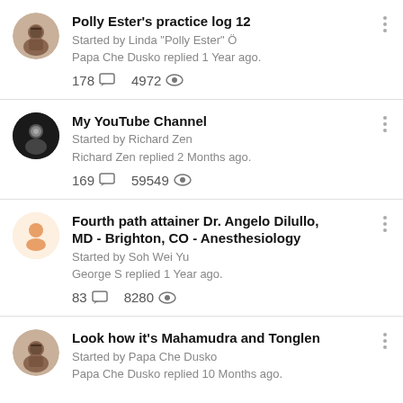Polly Ester's practice log 12
Started by Linda "Polly Ester" Ö
Papa Che Dusko replied 1 Year ago.
178 comments  4972 views
My YouTube Channel
Started by Richard Zen
Richard Zen replied 2 Months ago.
169 comments  59549 views
Fourth path attainer Dr. Angelo Dilullo, MD - Brighton, CO - Anesthesiology
Started by Soh Wei Yu
George S replied 1 Year ago.
83 comments  8280 views
Look how it's Mahamudra and Tonglen
Started by Papa Che Dusko
Papa Che Dusko replied 10 Months ago.